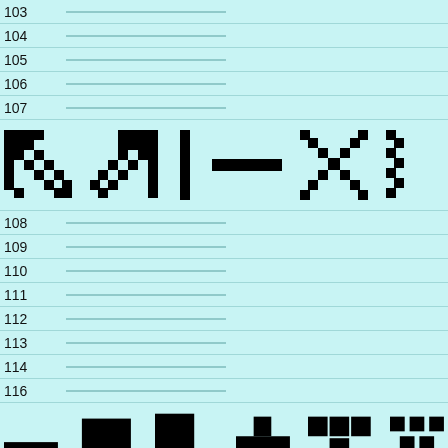103
104
105
106
107
[Figure (illustration): Pixel art icons: diagonal arrow up-left, diagonal arrow up-right, vertical bar, horizontal bar, X cross, partial diagonal]
108
109
110
111
112
113
114
116
[Figure (illustration): Pixel art icons: short horizontal bar, filled square, L-shape, plus/cross, checkerboard 3x3, dotted pattern, partial shape]
117
200